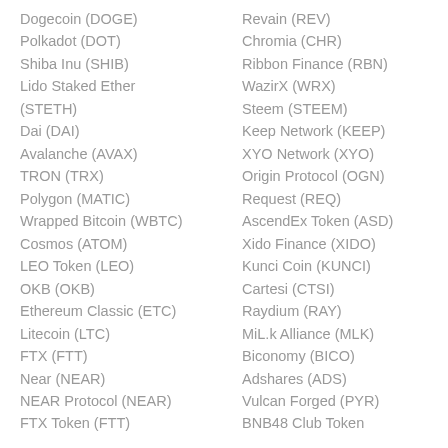Dogecoin (DOGE)
Polkadot (DOT)
Shiba Inu (SHIB)
Lido Staked Ether (STETH)
Dai (DAI)
Avalanche (AVAX)
TRON (TRX)
Polygon (MATIC)
Wrapped Bitcoin (WBTC)
Cosmos (ATOM)
LEO Token (LEO)
OKB (OKB)
Ethereum Classic (ETC)
Litecoin (LTC)
FTX (FTT)
Near (NEAR)
NEAR Protocol (NEAR)
FTX Token (FTT)
Revain (REV)
Chromia (CHR)
Ribbon Finance (RBN)
WazirX (WRX)
Steem (STEEM)
Keep Network (KEEP)
XYO Network (XYO)
Origin Protocol (OGN)
Request (REQ)
AscendEx Token (ASD)
Xido Finance (XIDO)
Kunci Coin (KUNCI)
Cartesi (CTSI)
Raydium (RAY)
MiL.k Alliance (MLK)
Biconomy (BICO)
Adshares (ADS)
Vulcan Forged (PYR)
BNB48 Club Token